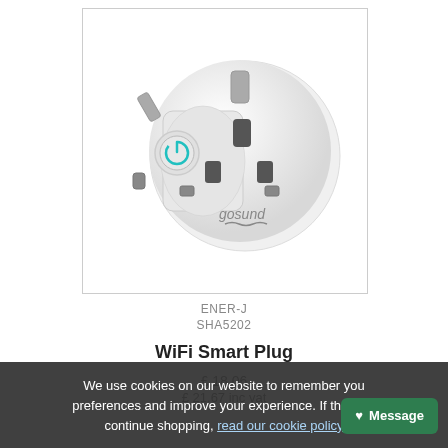[Figure (photo): A white Gosund WiFi Smart Plug with UK plug pins and a teal power button, shown on white background inside a bordered image box.]
ENER-J
SHA5202
WiFi Smart Plug
£ 18.06
£ 21.67 inc vat
We use cookies on our website to remember you preferences and improve your experience. If thats ok continue shopping, read our cookie policy
Message